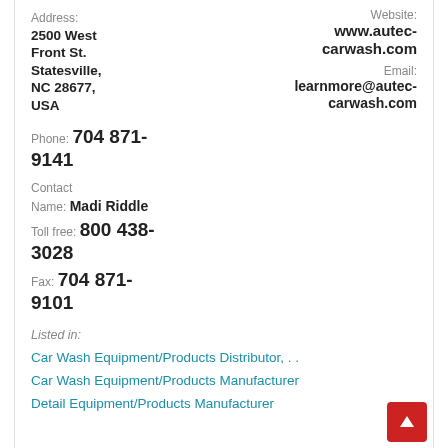Address: 2500 West Front St. Statesville, NC 28677, USA
Website: www.autec-carwash.com
Email: learnmore@autec-carwash.com
Phone: 704 871-9141
Contact Name: Madi Riddle
Toll free: 800 438-3028
Fax: 704 871-9101
Listed in:
Car Wash Equipment/Products Distributor, . .
Car Wash Equipment/Products Manufacturer
Detail Equipment/Products Manufacturer